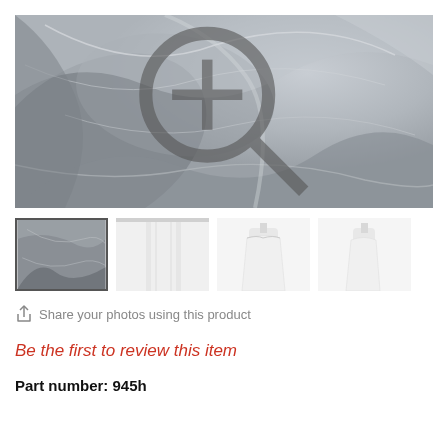[Figure (photo): Close-up photo of gray/silver textured fabric with folds and creases, showing a shimmery/pearlescent surface]
[Figure (photo): Thumbnail 1: Close-up of dark gray fabric folds (selected/active thumbnail)]
[Figure (photo): Thumbnail 2: White/cream sheer fabric hanging]
[Figure (photo): Thumbnail 3: White dress on a mannequin, front view]
[Figure (photo): Thumbnail 4: White dress on a mannequin, side view]
Share your photos using this product
Be the first to review this item
Part number: 945h